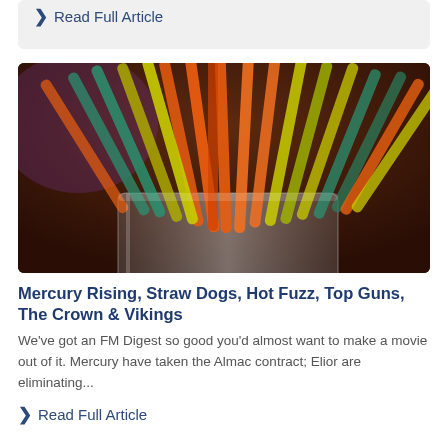> Read Full Article
[Figure (photo): A close-up photo of colorful plastic drinking straws (orange, yellow, green, teal) bundled together in a glass or holder, on a dark brown background.]
Mercury Rising, Straw Dogs, Hot Fuzz, Top Guns, The Crown & Vikings
We've got an FM Digest so good you'd almost want to make a movie out of it. Mercury have taken the Almac contract; Elior are eliminating...
> Read Full Article